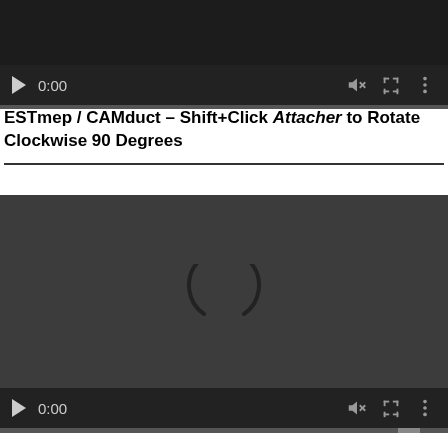[Figure (screenshot): Video player with dark controls showing play button, 0:00 timestamp, mute icon, fullscreen icon, and more options icon, with a progress bar below]
ESTmep / CAMduct – Shift+Click Attacher to Rotate Clockwise 90 Degrees
[Figure (screenshot): Second video player showing a loading spinner arc in the center of a dark grey video area, with dark controls showing play button, 0:00 timestamp, and icons below]